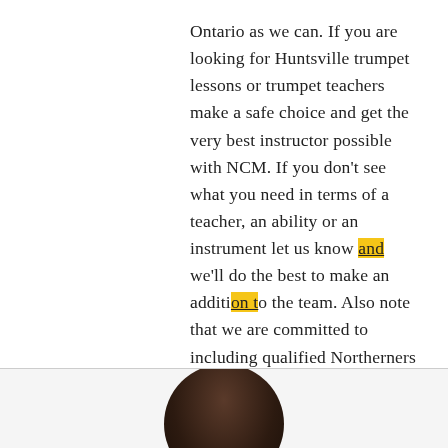Ontario as we can.  If you are looking for Huntsville trumpet lessons or trumpet teachers make a safe choice and get the very best instructor possible with NCM.  If you don't see what you need in terms of a teacher, an ability or an instrument let us know and we'll do the best to make an addition to the team.  Also note that we are committed to including qualified Northerners in our roster.  As of right now the team is about 25% northern or formerly northern. We hope you will join us in adapting to the new normal by celebrating the possible and the benefits that technology can bring to a more remote region.
[Figure (photo): Circular cropped photo of a person, partially visible at the bottom of the page, showing the top of a head with dark hair against a light background.]